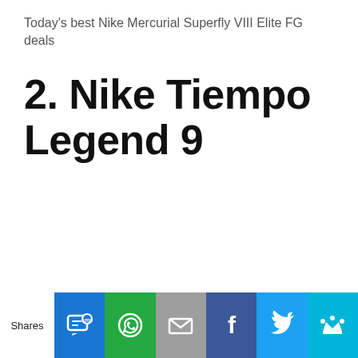Today's best Nike Mercurial Superfly VIII Elite FG deals
2. Nike Tiempo Legend 9
Shares [SMS] [WhatsApp] [Email] [Facebook] [Twitter] [Crown]